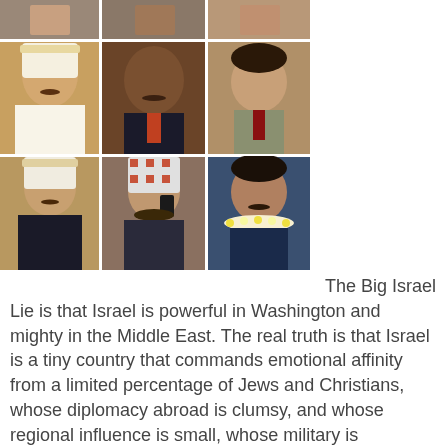[Figure (photo): A grid of 6 portrait photos of Middle Eastern men arranged in 2 rows of 3, with a partial top strip. Men are dressed in traditional Arab attire (white thobes, keffiyeh) and Western suits.]
The Big Israel Lie is that Israel is powerful in Washington and mighty in the Middle East. The real truth is that Israel is a tiny country that commands emotional affinity from a limited percentage of Jews and Christians, whose diplomacy abroad is clumsy, and whose regional influence is small, whose military is handicapped by liberal handwringing and whose leaders would rather negotiate than fight... until there is no other choice.
This lie is meant to make Israel seem strong, in order to place it at the center of every problem and turn it into the nail that needs to be hammered down for everything to stand straight. But the easiest way to clear up the lie is to simply look at the reality of the Middle East and see that Israel